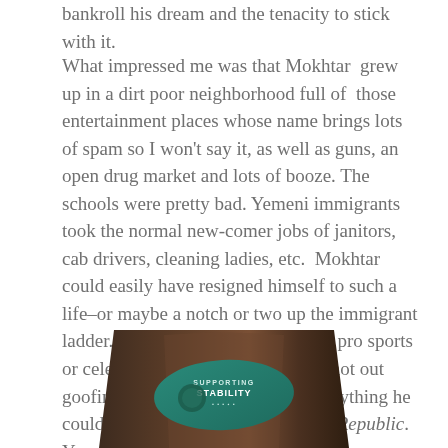bankroll his dream and the tenacity to stick with it.
What impressed me was that Mokhtar grew up in a dirt poor neighborhood full of those entertainment places whose name brings lots of spam so I won't say it, as well as guns, an open drug market and lots of booze. The schools were pretty bad. Yemeni immigrants took the normal new-comer jobs of janitors, cab drivers, cleaning ladies, etc. Mokhtar could easily have resigned himself to such a life–or maybe a notch or two up the immigrant ladder. Instead of wasting time on a pro sports or celebrity dream, Mokhtar, when not out goofing around with friends, read anything he could get his hands on–even Plato's Republic. You see, Mokhtar choose to succeed.
[Figure (photo): Bottom portion of a coffee bag with a teal label, partially cropped at the bottom of the page.]